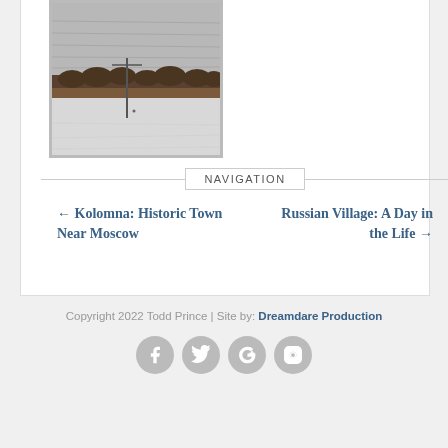[Figure (photo): A winter landscape photograph showing a snowy field with bare trees on the horizon and utility poles, under a grey overcast sky]
NAVIGATION
← Kolomna: Historic Town Near Moscow
Russian Village: A Day in the Life →
Copyright 2022 Todd Prince | Site by: Dreamdare Production